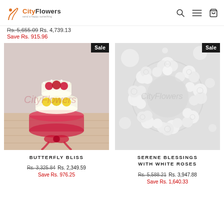CityFlowers
Rs. 5,655.09  Rs. 4,739.13  Save Rs. 915.96
[Figure (photo): Tiered floral arrangement with red and yellow roses with baby's breath on a wooden surface, with CityFlowers watermark. Sale badge in top right.]
BUTTERFLY BLISS
Rs. 3,325.84  Rs. 2,349.59  Save Rs. 976.25
[Figure (photo): White rose wreath/ring arrangement on a light background with CityFlowers watermark. Sale badge in top right.]
SERENE BLESSINGS WITH WHITE ROSES
Rs. 5,588.21  Rs. 3,947.88  Save Rs. 1,640.33